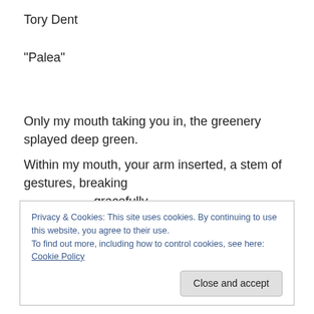Tory Dent
“Palea”
Only my mouth taking you in, the greenery splayed deep green.

Within my mouth, your arm inserted, a stem of gestures, breaking
          gracefully.
Privacy & Cookies: This site uses cookies. By continuing to use this website, you agree to their use.
To find out more, including how to control cookies, see here: Cookie Policy